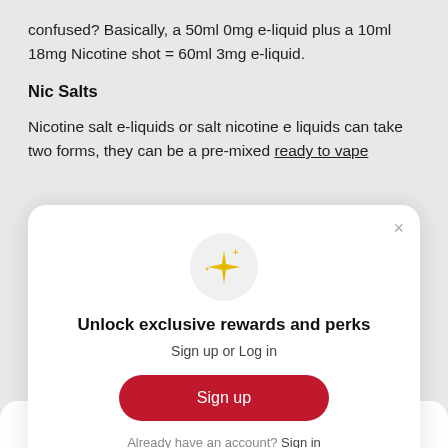confused? Basically, a 50ml 0mg e-liquid plus a 10ml 18mg Nicotine shot = 60ml 3mg e-liquid.
Nic Salts
Nicotine salt e-liquids or salt nicotine e liquids can take two forms, they can be a pre-mixed ready to vape
[Figure (screenshot): Modal dialog card with sparkle icon, title 'Unlock exclusive rewards and perks', subtitle 'Sign up or Log in', a red 'Sign up' button, and 'Already have an account? Sign in' footer text. A close (×) button is in the top right.]
Nic-salts are less efficiently absorbed into the system so